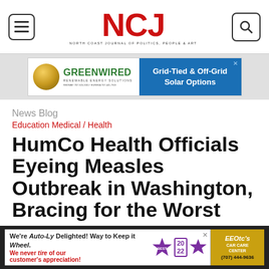NCJ — North Coast Journal of Politics, People & Art
[Figure (other): GREENWIRED Renewable Energy Solutions advertisement banner with gold circle logo on left and blue panel reading Grid-Tied & Off-Grid Solar Options on the right]
News Blog
Education Medical / Health
HumCo Health Officials Eyeing Measles Outbreak in Washington, Bracing for the Worst
by Thadeus Greenson
[Figure (other): Auto-Ly car care advertisement banner: We're Auto-Ly Delighted! Way to Keep it Wheel. We never tire of our customer's appreciation! 2022. EEOtc's CAR CARE CENTER (707) 444-9636]